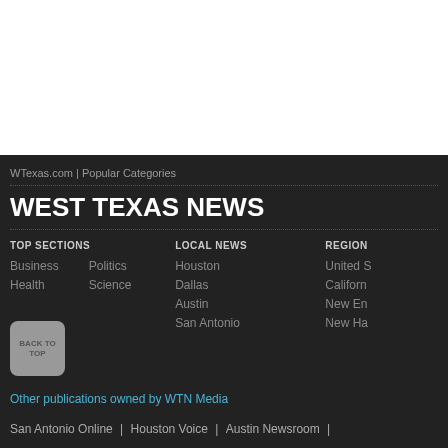[Figure (other): White blank area at top of page]
WTexas.com | Popular Categories
WEST TEXAS NEWS
TOP SECTIONS
LOCAL NEWS
REGION
Business
Politics
Houston
United S
Health
Science
Dallas
Californ
Austin
New En
San Antonio
New Ha
Other publications owned by WTN Media
San Antonio Online | Houston Voice | Austin Newsroom |
BACK TO TOP